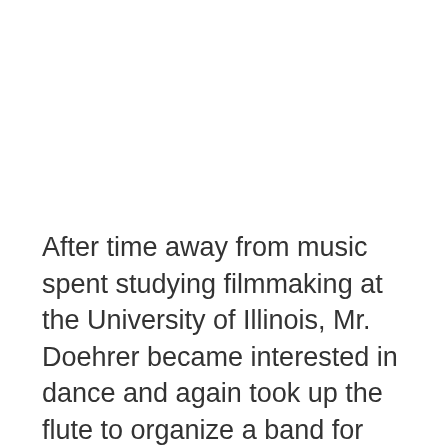After time away from music spent studying filmmaking at the University of Illinois, Mr. Doehrer became interested in dance and again took up the flute to organize a band for